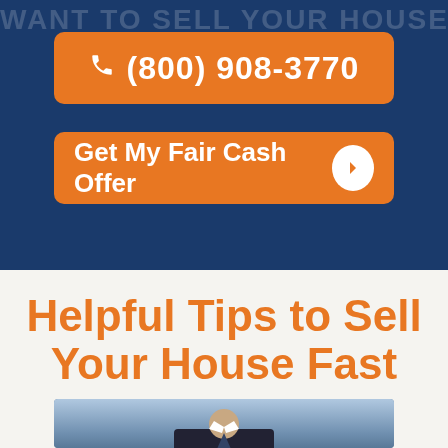WANT TO SELL YOUR HOUSE
(800) 908-3770
Get My Fair Cash Offer
Helpful Tips to Sell Your House Fast
[Figure (photo): Photo of a man in a suit, cropped at the bottom of the page]